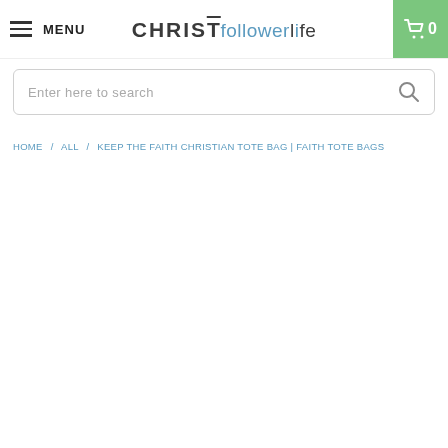MENU | CHRISTfollowerlife | 0
Enter here to search
HOME / ALL / KEEP THE FAITH CHRISTIAN TOTE BAG | FAITH TOTE BAGS